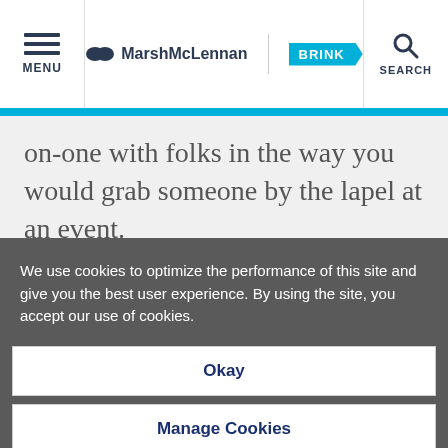MENU | MarshMcLennan BRINK | SEARCH
on-one with folks in the way you would grab someone by the lapel at an event.
And then you no longer have to go through all those logistics, with the
We use cookies to optimize the performance of this site and give you the best user experience. By using the site, you accept our use of cookies.
Okay
Manage Cookies